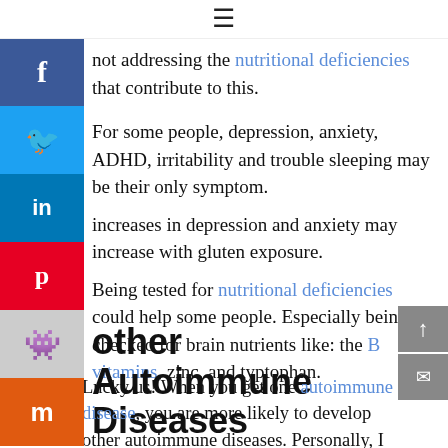☰
not addressing the nutritional deficiencies that contribute to this.
For some people, depression, anxiety, ADHD, irritability and trouble sleeping may be their only symptom.
increases in depression and anxiety may increase with gluten exposure.
Being tested for nutritional deficiencies could help some people. Especially being checked for brain nutrients like: the B vitamins, zinc, and typtophan.
other Autoimmune Diseases
Lucky us! When you get one autoimmune disease, you are more likely to develop other autoimmune diseases. Personally, I believe this is also because of the nutritional deficiencies our bodies have